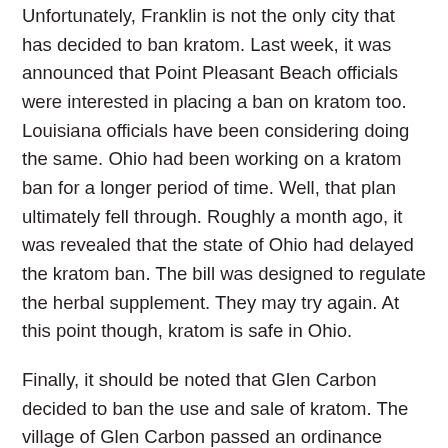Unfortunately, Franklin is not the only city that has decided to ban kratom. Last week, it was announced that Point Pleasant Beach officials were interested in placing a ban on kratom too. Louisiana officials have been considering doing the same. Ohio had been working on a kratom ban for a longer period of time. Well, that plan ultimately fell through. Roughly a month ago, it was revealed that the state of Ohio had delayed the kratom ban. The bill was designed to regulate the herbal supplement. They may try again. At this point though, kratom is safe in Ohio.
Finally, it should be noted that Glen Carbon decided to ban the use and sale of kratom. The village of Glen Carbon passed an ordinance which prohibited the possession and sale of kratom within the village. It was unanimously passed by the trustees involved. Suffice to say, there are many that are interested in banning kratom. Unfortunately, there is a possibility that other cities will follow suit in the future.